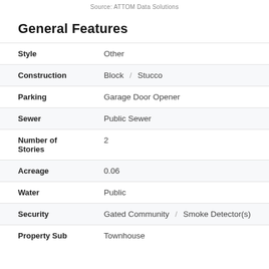Source: ATTOM Data Solutions
General Features
| Feature | Value |
| --- | --- |
| Style | Other |
| Construction | Block / Stucco |
| Parking | Garage Door Opener |
| Sewer | Public Sewer |
| Number of Stories | 2 |
| Acreage | 0.06 |
| Water | Public |
| Security | Gated Community / Smoke Detector(s) |
| Property Sub | Townhouse |